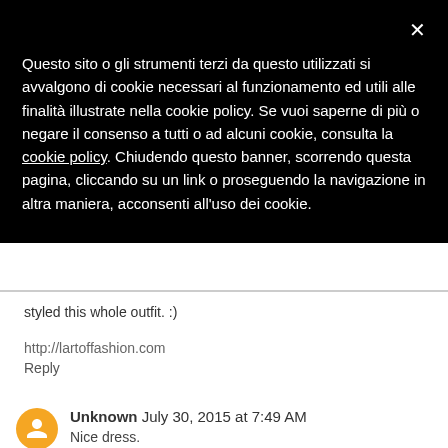Informativa
Questo sito o gli strumenti terzi da questo utilizzati si avvalgono di cookie necessari al funzionamento ed utili alle finalità illustrate nella cookie policy. Se vuoi saperne di più o negare il consenso a tutti o ad alcuni cookie, consulta la cookie policy. Chiudendo questo banner, scorrendo questa pagina, cliccando su un link o proseguendo la navigazione in altra maniera, acconsenti all'uso dei cookie.
styled this whole outfit. :)
http://lartoffashion.com
Reply
Unknown  July 30, 2015 at 7:49 AM
Nice dress.